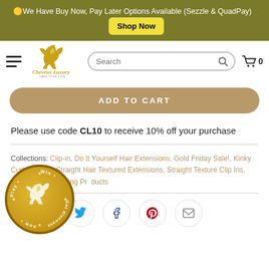🟡We Have Buy Now, Pay Later Options Available (Sezzle & QuadPay)  Shop Now
[Figure (logo): Cheveux Luxury logo with golden squirrel and cursive brand name]
ADD TO CART
Please use code CL10 to receive 10% off your purchase
Collections: Clip-in, Do It Yourself Hair Extensions, Gold Friday Sale!, Kinky Curly & Kinky Straight Hair Textured Extensions, Straight Texture Clip Ins, Trending Products
[Figure (illustration): Spin-to-win discount wheel widget with Cheveux Luxury logo, text: Win • Get discount now • Play]
[Figure (infographic): Social share icons: Twitter, Facebook, Pinterest, Email]